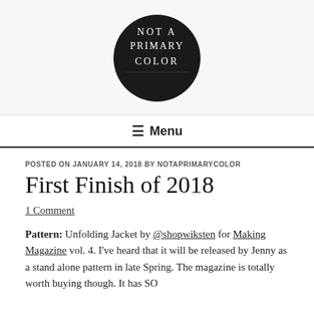[Figure (logo): Round black circle logo with hand-drawn text reading NOT A PRIMARY COLOR]
☰ Menu
POSTED ON JANUARY 14, 2018 BY NOTAPRIMARYCOLOR
First Finish of 2018
1 Comment
Pattern: Unfolding Jacket by @shopwiksten for Making Magazine vol. 4. I've heard that it will be released by Jenny as a stand alone pattern in late Spring. The magazine is totally worth buying though. It has SO